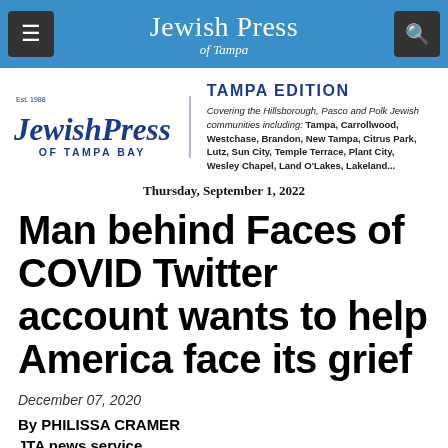Jewish Press of Tampa
[Figure (logo): Jewish Press of Tampa Bay masthead logo with Est. 1988, alongside Tampa Edition text covering Hillsborough, Pasco and Polk Jewish communities including: Tampa, Carrollwood, Westchase, Brandon, New Tampa, Citrus Park, Lutz, Sun City, Temple Terrace, Plant City, Wesley Chapel, Land O'Lakes, Lakeland...]
Thursday, September 1, 2022
Man behind Faces of COVID Twitter account wants to help America face its grief
December 07, 2020
By PHILISSA CRAMER
JTA news service